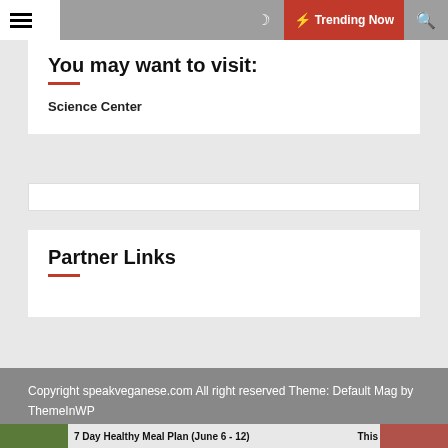Trending Now
You may want to visit:
Science Center
Partner Links
Copyright speakveganese.com All right reserved Theme: Default Mag by ThemeInWP
7 Day Healthy Meal Plan (June 6–12)
This